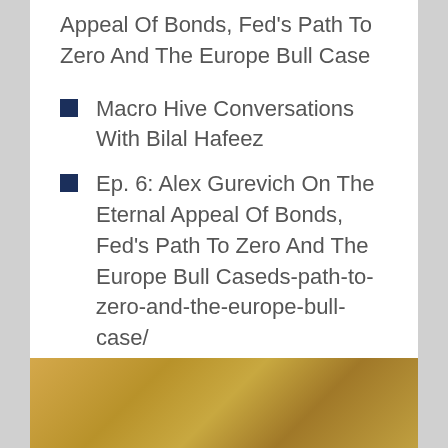Appeal Of Bonds, Fed's Path To Zero And The Europe Bull Case
Macro Hive Conversations With Bilal Hafeez
Ep. 6: Alex Gurevich On The Eternal Appeal Of Bonds, Fed's Path To Zero And The Europe Bull Caseds-path-to-zero-and-the-europe-bull-case/
[Figure (photo): Partial view of a worn golden/yellow book or object against a dark blue background, cropped at bottom of page]